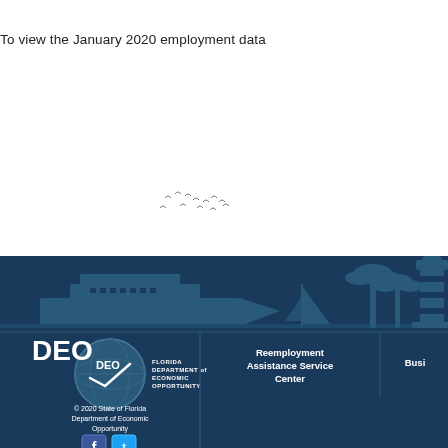To view the January 2020 employment data
[Figure (illustration): Florida DEO footer banner with skyline silhouette including cruise ship, sailboat, palm trees, lighthouse, DEO logo, Reemployment Assistance Service Center text, copyright notice, and social media icons]
Reemployment Assistance Service Center
Busi
© 2020 State of Florida Department of Economic Opportunity